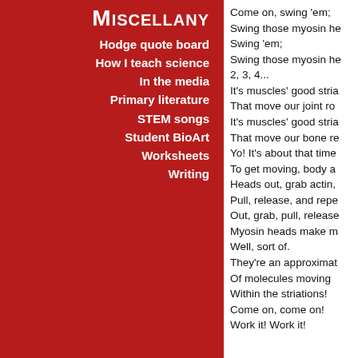Miscellany
Hodge quote board
How I teach science
In the media
Primary literature
STEM songs
Student BioArt
Worksheets
Writing
Come on, swing 'em;
Swing those myosin he
Swing 'em;
Swing those myosin he
2, 3, 4...
It's muscles' good stria
That move our joint ro
It's muscles' good stria
That move our bone re
Yo! It's about that time
To get moving, body a
Heads out, grab actin,
Pull, release, and repe
Out, grab, pull, release
Myosin heads make m
Well, sort of.
They're an approximat
Of molecules moving
Within the striations!
Come on, come on!
Work it! Work it!